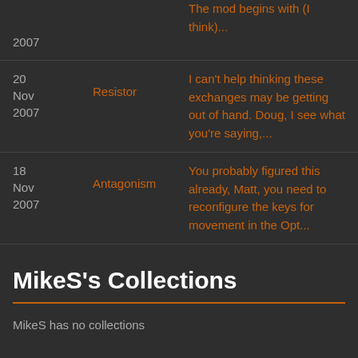2007 | The mod begins with (I think)...
20 Nov 2007 | Resistor | I can't help thinking these exchanges may be getting out of hand. Doug, I see what you're saying,...
18 Nov 2007 | Antagonism | You probably figured this already, Matt, you need to reconfigure the keys for movement in the Opt...
MikeS's Collections
MikeS has no collections